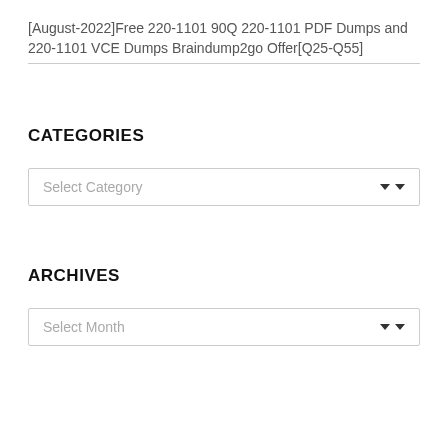[August-2022]Free 220-1101 90Q 220-1101 PDF Dumps and 220-1101 VCE Dumps Braindump2go Offer[Q25-Q55]
CATEGORIES
Select Category
ARCHIVES
Select Month